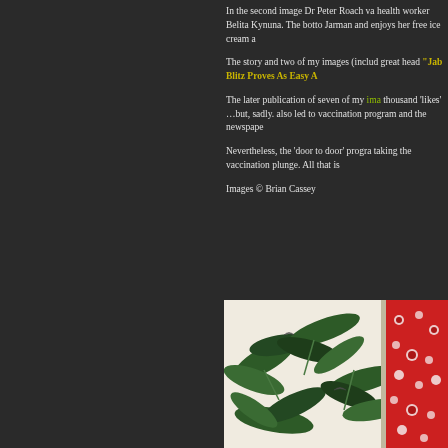In the second image Dr Peter Roach va health worker Belita Kynuna. The botto Jarman and enjoys her free ice cream a
The story and two of my images (includ great head "Jab Blitz Proves As Easy A
The later publication of seven of my ima thousand 'likes' …but, sadly. also led to vaccination program and the newspape
Nevertheless, the 'door to door' progra taking the vaccination plunge. All that is
Images © Brian Cassey
[Figure (photo): Fabric or curtain with tropical leaf print pattern in green and white, partially visible with a red patterned fabric on the right side]